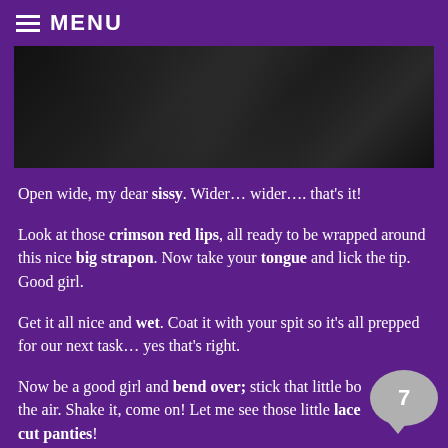MENU
[Figure (photo): Dark abstract background image with angular geometric lines in near-black tones]
Open wide, my dear sissy. Wider… wider…. that's it!
Look at those crimson red lips, all ready to be wrapped around this nice big strapon. Now take your tongue and lick the tip. Good girl.
Get it all nice and wet. Coat it with your spit so it's all prepped for our next task… yes that's right.
Now be a good girl and bend over; stick that little bo* the air. Shake it, come on! Let me see those little lace cut panties!